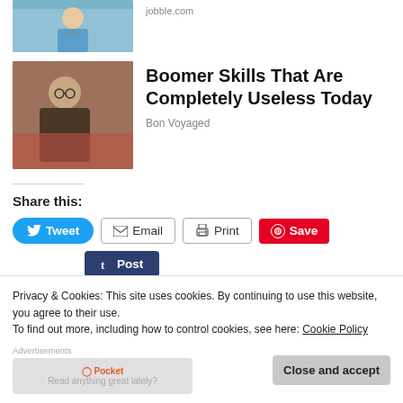[Figure (photo): Partial photo of a nurse or medical professional in blue scrubs with stethoscope, partially visible at top]
jobble.com
[Figure (photo): Older man with glasses and grey hair, wearing a brown jacket, working at a table with red fabric]
Boomer Skills That Are Completely Useless Today
Bon Voyaged
Share this:
[Figure (screenshot): Social sharing buttons: Tweet (blue), Email (outlined), Print (outlined), Save (red/Pinterest), Post (dark blue/Tumblr)]
Privacy & Cookies: This site uses cookies. By continuing to use this website, you agree to their use.
To find out more, including how to control cookies, see here: Cookie Policy
Close and accept